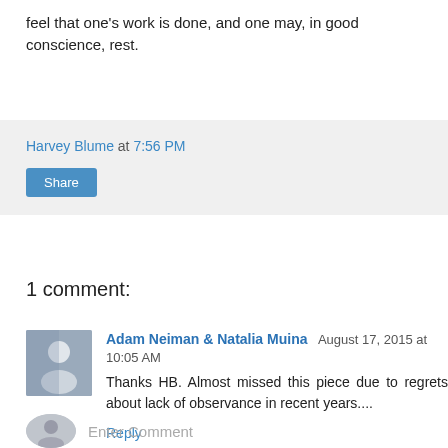feel that one’s work is done, and one may, in good conscience, rest.
Harvey Blume at 7:56 PM
Share
1 comment:
Adam Neiman & Natalia Muina August 17, 2015 at 10:05 AM
Thanks HB. Almost missed this piece due to regrets about lack of observance in recent years....
Reply
Enter Comment